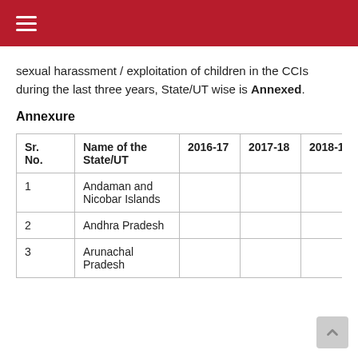sexual harassment / exploitation of children in the CCIs during the last three years, State/UT wise is Annexed.
Annexure
| Sr. No. | Name of the State/UT | 2016-17 | 2017-18 | 2018-19 | Total |
| --- | --- | --- | --- | --- | --- |
| 1 | Andaman and Nicobar Islands |  |  |  | 0 |
| 2 | Andhra Pradesh |  |  |  | 0 |
| 3 | Arunachal Pradesh |  |  |  | 0 |